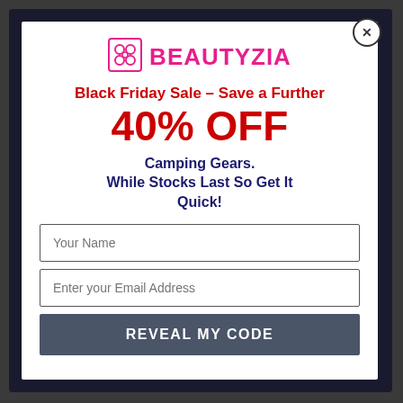[Figure (logo): Beautyzia logo with pink flower/petal icon and pink uppercase text BEAUTYZIA]
Black Friday Sale – Save a Further 40% OFF
Camping Gears. While Stocks Last So Get It Quick!
Your Name
Enter your Email Address
REVEAL MY CODE